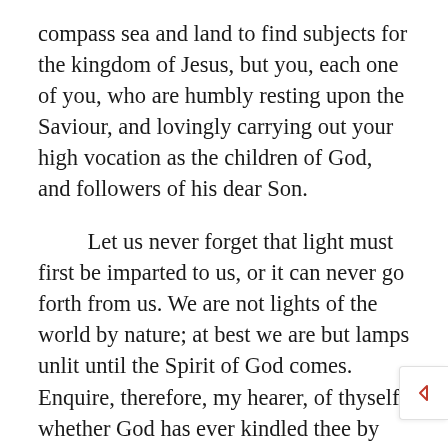compass sea and land to find subjects for the kingdom of Jesus, but you, each one of you, who are humbly resting upon the Saviour, and lovingly carrying out your high vocation as the children of God, and followers of his dear Son.
Let us never forget that light must first be imparted to us, or it can never go forth from us. We are not lights of the world by nature; at best we are but lamps unlit until the Spirit of God comes. Enquire, therefore, my hearer, of thyself whether God has ever kindled thee by the flame of